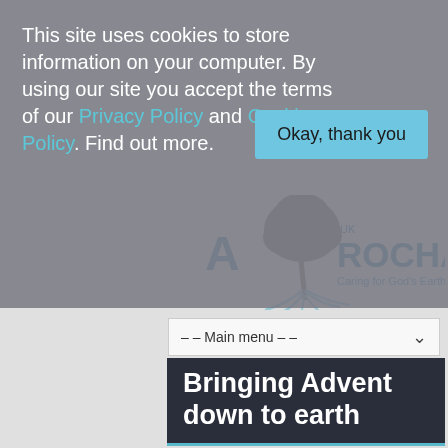This site uses cookies to store information on your computer. By using our site you accept the terms of our Privacy Policy and Cookies Policy. Find out more.
Okay, thank you
[Figure (logo): A Rocha UK logo with tree and roots, text 'A ROCHA UK Caring for God's Earth']
– – Main menu – –
Bringing Advent down to earth
You are here   Home  >  News  >  Bringing Advent down to earth